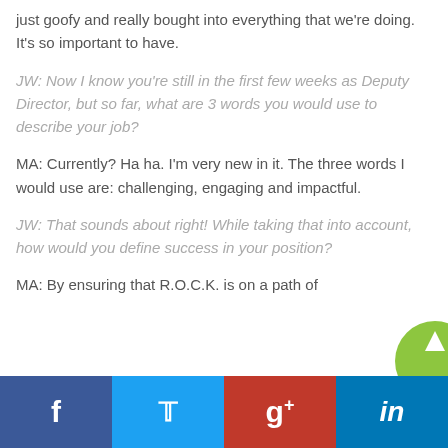just goofy and really bought into everything that we're doing. It's so important to have.
JW: Now I know you're still in the first few weeks as Deputy Director, but so far, what are 3 words you would use to describe your job?
MA: Currently? Ha ha. I'm very new in it. The three words I would use are: challenging, engaging and impactful.
JW: That sounds about right! While taking that into account, how would you define success in your position?
MA: By ensuring that R.O.C.K. is on a path of
Facebook | Twitter | Google+ | LinkedIn